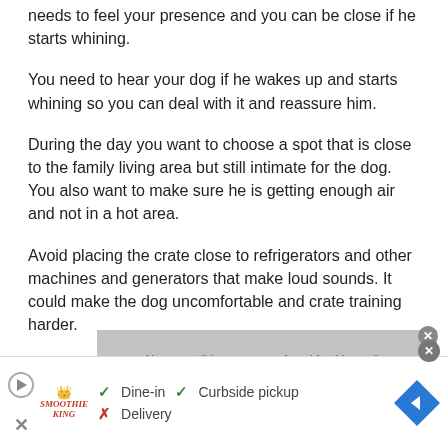needs to feel your presence and you can be close if he starts whining.
You need to hear your dog if he wakes up and starts whining so you can deal with it and reassure him.
During the day you want to choose a spot that is close to the family living area but still intimate for the dog. You also want to make sure he is getting enough air and not in a hot area.
Avoid placing the crate close to refrigerators and other machines and generators that make loud sounds. It could make the dog uncomfortable and crate training harder.